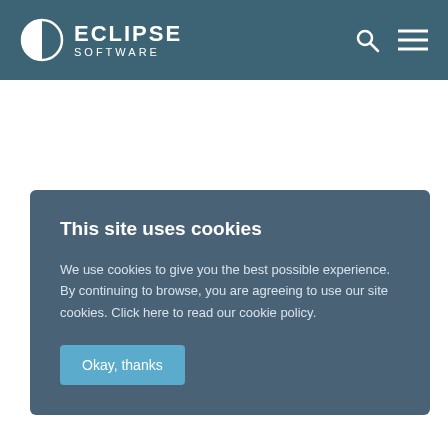ECLIPSE SOFTWARE
This site uses cookies
We use cookies to give you the best possible experience. By continuing to browse, you are agreeing to use our site cookies. Click here to read our cookie policy.
Okay, thanks